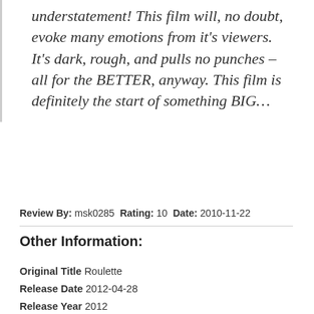understatement! This film will, no doubt, evoke many emotions from it's viewers. It's dark, rough, and pulls no punches – all for the BETTER, anyway. This film is definitely the start of something BIG…
Review By: msk0285 Rating: 10 Date: 2010-11-22
Other Information:
Original Title Roulette
Release Date 2012-04-28
Release Year 2012
Original Language en
Runtime 1 hr 53 min (113 min) (USA)
Budget 0
Revenue 0